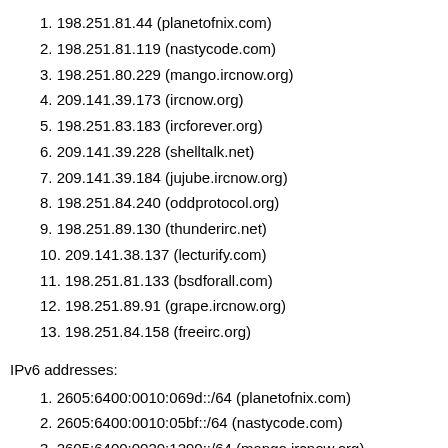1. 198.251.81.44 (planetofnix.com)
2. 198.251.81.119 (nastycode.com)
3. 198.251.80.229 (mango.ircnow.org)
4. 209.141.39.173 (ircnow.org)
5. 198.251.83.183 (ircforever.org)
6. 209.141.39.228 (shelltalk.net)
7. 209.141.39.184 (jujube.ircnow.org)
8. 198.251.84.240 (oddprotocol.org)
9. 198.251.89.130 (thunderirc.net)
10. 209.141.38.137 (lecturify.com)
11. 198.251.81.133 (bsdforall.com)
12. 198.251.89.91 (grape.ircnow.org)
13. 198.251.84.158 (freeirc.org)
IPv6 addresses:
1. 2605:6400:0010:069d::/64 (planetofnix.com)
2. 2605:6400:0010:05bf::/64 (nastycode.com)
3. 2605:6400:0020:1290::/64 (mango.ircnow.org)